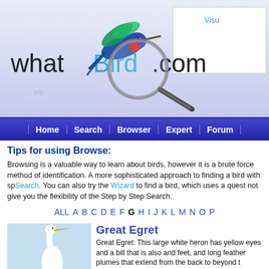[Figure (logo): WhatBird.com logo with hummingbird and magnifying glass illustration]
Home | Search | Browser | Expert | Forum
Tips for using Browse:
Browsing is a valuable way to learn about birds, however it is a brute force method of identification. A more sophisticated approach to finding a bird with specific characteristics is Step by Step Search. You can also try the Wizard to find a bird, which uses a question and answer approach but does not give you the flexibility of the Step by Step Search.
ALL A B C D E F G H I J K L M N O P
[Figure (illustration): Great Egret bird illustration - large white heron standing in water]
Great Egret
Great Egret: This large white heron has yellow eyes and a bill that is also yellow. It has black legs and feet, and long feather plumes that extend from the back to beyond the tail. It feeds on fish, frogs, insects, snakes and crayfish. It has a buoyant direct flight on steady wing beats. Female is slightly larger.
[Figure (illustration): Great Blue Heron bird illustration - large heron perched on branch]
Great Blue Heron
Great Blue Heron: This large heron has a blue-gray back, black sides and a gray-brown belly with a black-bordered white throat stripe. The head has a white face, cap is black, and bill lower is yellow. It mainly feeds on small fish but will take a variety of foods. Sexes are similar.
[Figure (illustration): Green Heron bird illustration - small heron with dark green upperparts]
Green Heron
Green Heron: This small heron has gray-green upperparts, chestnut brown sides and breast. It has a green-black cap with a small crest and a white throat. The neck is chestnut. The bill is dark upper mandible and yellow lower. During the breeding season bill is also dark.